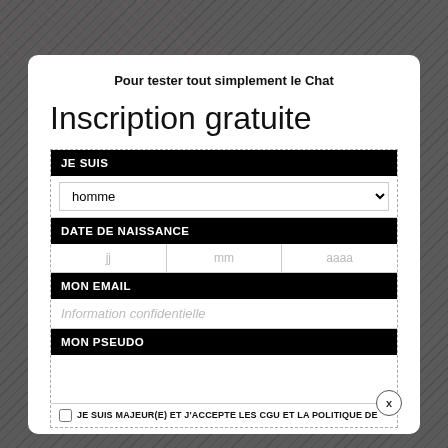[Figure (screenshot): Dark diagonal striped background with a modal dialog overlay]
Pour tester tout simplement le Chat
Inscription gratuite
JE SUIS
homme
DATE DE NAISSANCE
jj  mm  aaaa
MON EMAIL
Information confidentielle
MON PSEUDO
JE SUIS MAJEUR(E) ET J'ACCEPTE LES CGU ET LA POLITIQUE DE